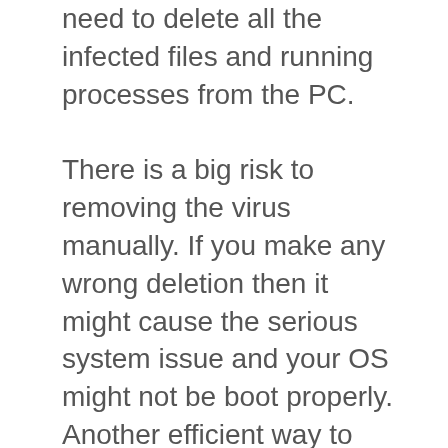need to delete all the infected files and running processes from the PC.
There is a big risk to removing the virus manually. If you make any wrong deletion then it might cause the serious system issue and your OS might not be boot properly. Another efficient way to remove this threat is by using the third party removal application. The prj95_bb.dll removal tool has efficient capability to remove all the instance of this malicious program. It scans entire PC deeply and deletes the infected files from the PC. You can find this tool on the link mentioned below. Here you will also get more removal